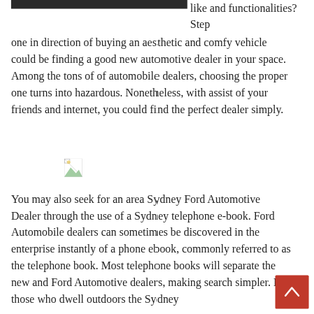[Figure (photo): Dark/black image at top left, partially visible]
like and functionalities? Step one in direction of buying an aesthetic and comfy vehicle could be finding a good new automotive dealer in your space. Among the tons of of automobile dealers, choosing the proper one turns into hazardous. Nonetheless, with assist of your friends and internet, you could find the perfect dealer simply.
[Figure (photo): Broken/missing image icon in center of page]
You may also seek for an area Sydney Ford Automotive Dealer through the use of a Sydney telephone e-book. Ford Automobile dealers can sometimes be discovered in the enterprise instantly of a phone ebook, commonly referred to as the telephone book. Most telephone books will separate the new and Ford Automotive dealers, making search simpler. For those who dwell outdoors the Sydney